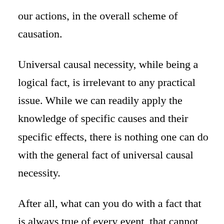our actions, in the overall scheme of causation.
Universal causal necessity, while being a logical fact, is irrelevant to any practical issue. While we can readily apply the knowledge of specific causes and their specific effects, there is nothing one can do with the general fact of universal causal necessity.
After all, what can you do with a fact that is always true of every event, that cannot distinguish one event from another, and which cannot be altered in any way? Nothing. It makes itself irrelevant by its own ubiquity. It is like a constant that always appears on